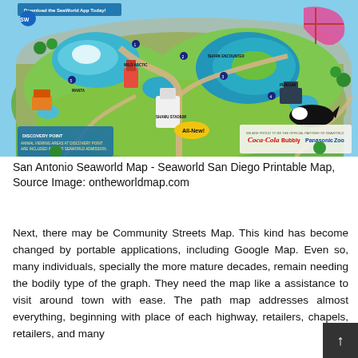[Figure (map): SeaWorld San Diego park map showing attractions, rides, animal areas, pathways, and sponsor logos (Coca-Cola, Panasonic) at the bottom. Green park grounds with blue water areas and labeled attractions throughout.]
San Antonio Seaworld Map - Seaworld San Diego Printable Map, Source Image: ontheworldmap.com
Next, there may be Community Streets Map. This kind has become changed by portable applications, including Google Map. Even so, many individuals, specially the more mature decades, remain needing the bodily type of the graph. They need the map like a assistance to visit around town with ease. The path map addresses almost everything, beginning with place of each highway, retailers, chapels, retailers, and many